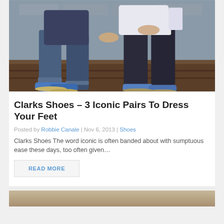[Figure (photo): Two men sitting on wooden steps wearing blue suede Clarks desert boots/shoes, one in jeans and one in dress trousers]
Clarks Shoes – 3 Iconic Pairs To Dress Your Feet
Posted by Robbie Canale | Nov 6, 2013 | Shoes
Clarks Shoes The word iconic is often banded about with sumptuous ease these days, too often given...
READ MORE
[Figure (photo): Partial photo at bottom of page, partially cut off]